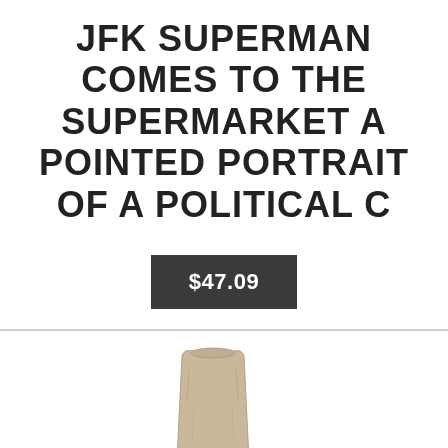JFK SUPERMAN COMES TO THE SUPERMARKET A POINTED PORTRAIT OF A POLITICAL C
$47.09
[Figure (photo): A tall knee-high suede boot in beige/tan color with a flat sole, photographed on a white background.]